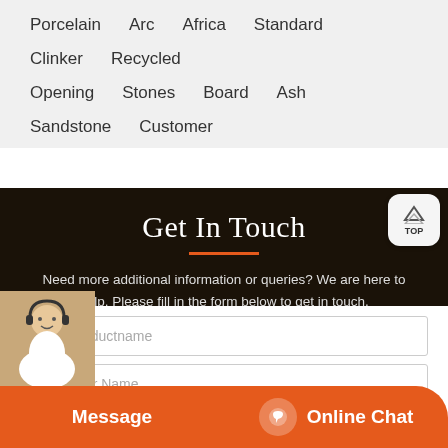Porcelain  Arc  Africa  Standard  Clinker  Recycled  Opening  Stones  Board  Ash  Sandstone  Customer  Lanka  Separating
Get In Touch
Need more additional information or queries? We are here to help. Please fill in the form below to get in touch.
Productname
Your Name
Message
Online Chat